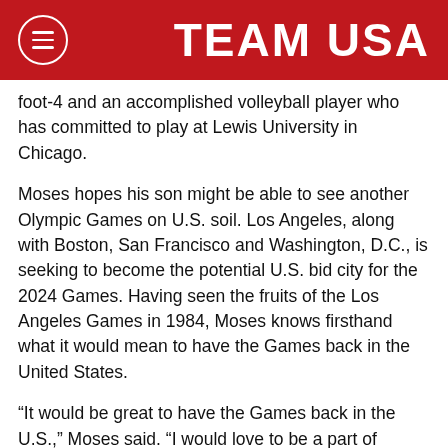TEAM USA
foot-4 and an accomplished volleyball player who has committed to play at Lewis University in Chicago.
Moses hopes his son might be able to see another Olympic Games on U.S. soil. Los Angeles, along with Boston, San Francisco and Washington, D.C., is seeking to become the potential U.S. bid city for the 2024 Games. Having seen the fruits of the Los Angeles Games in 1984, Moses knows firsthand what it would mean to have the Games back in the United States.
“It would be great to have the Games back in the U.S.,” Moses said. “I would love to be a part of having the Olympics back here. The Games in Los Angeles were very, very successful.”